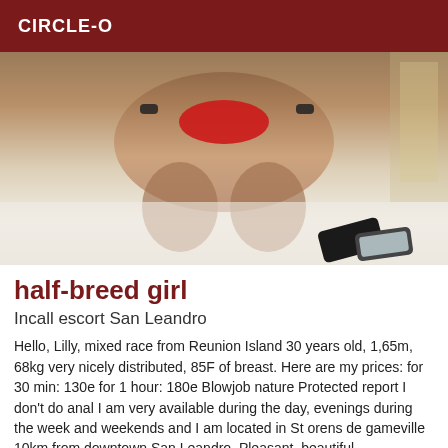CIRCLE-O
[Figure (photo): Photo of a person on a white bed, wearing red clothing, with two phones visible on the bed in the lower right.]
half-breed girl
Incall escort San Leandro
Hello, Lilly, mixed race from Reunion Island 30 years old, 1,65m, 68kg very nicely distributed, 85F of breast. Here are my prices: for 30 min: 130e for 1 hour: 180e Blowjob nature Protected report I don't do anal I am very available during the day, evenings during the week and weekends and I am located in St orens de gameville 10km from downtown San Leandro, Pleasant, beautiful